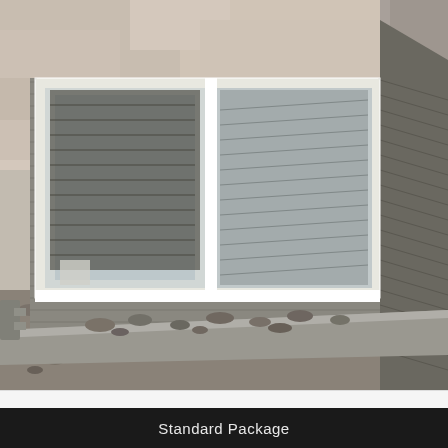[Figure (photo): Photograph of a basement egress window well installation. A white-framed sliding window is installed in a stucco wall. A galvanized corrugated metal window well surrounds the window, with gravel on the ground inside the well. The window well has a rectangular metal frame at the base.]
Standard Package